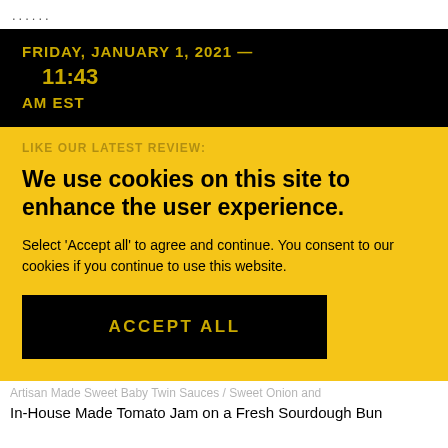......
FRIDAY, JANUARY 1, 2021 — 11:43 AM EST
We use cookies on this site to enhance the user experience.
Select 'Accept all' to agree and continue. You consent to our cookies if you continue to use this website.
ACCEPT ALL
In-House Made Tomato Jam on a Fresh Sourdough Bun